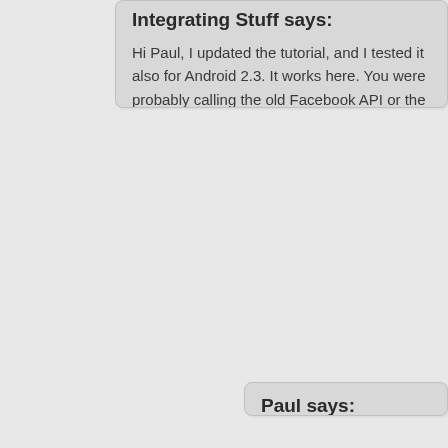Integrating Stuff says:
Hi Paul, I updated the tutorial, and I tested it also for Android 2.3. It works here. You were probably calling the old Facebook API or the Android Facebook SDK.
Paul says:
ok great. Thanks for the reply. I'll play with it. 🙂
Paul says:
Great, it works. Now, if only I can get SSO(Single Sign implementation to work.